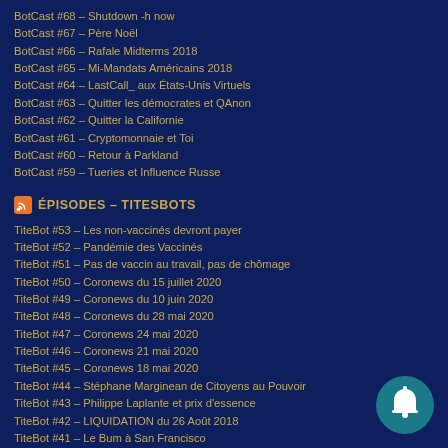BotCast #68 – Shutdown -h now
BotCast #67 – Père Noël
BotCast #66 – Rafale Midterms 2018
BotCast #65 – Mi-Mandats Américains 2018
BotCast #64 – LastCall_ aux États-Unis Virtuels
BotCast #63 – Quitter les démocrates et QAnon
BotCast #62 – Quitter la Californie
BotCast #61 – Cryptomonnaie et Toi
BotCast #60 – Retour à Parkland
BotCast #59 – Tueries et Influence Russe
ÉPISODES – TITESBOTS
TiteBot #53 – Les non-vaccinés devront payer
TiteBot #52 – Pandémie des Vaccinés
TiteBot #51 – Pas de vaccin au travail, pas de chômage
TiteBot #50 – Coronews du 15 juillet 2020
TiteBot #49 – Coronews du 10 juin 2020
TiteBot #48 – Coronews du 28 mai 2020
TiteBot #47 – Coronews 24 mai 2020
TiteBot #46 – Coronews 21 mai 2020
TiteBot #45 – Coronews 18 mai 2020
TiteBot #44 – Stéphane Marginean de Citoyens au Pouvoir
TiteBot #43 – Philippe Laplante et prix d'essence
TiteBot #42 – LIQUIDATION du 26 Août 2018
TiteBot #41 – Le Bum à San Francisco
TiteBot #40 – Steem avec OrlanduMike
TiteBot #39 – Myron Fagan: The Illuminati and the Council on Foreign Relations
TiteBot #38 – Formation prévention de harcèlement et discrimination au travail
TiteBot #37 – Radio Canada réveille le podcast
TiteBot #36 – Sovran Nations Embassies of Mother Earth
TiteBot #35 – Cheminement Spirituel à Botrax
TiteBot #34 – Preventing Daily Mind Hacks (HOPE9 unscheduled talk)
[Figure (illustration): Bell notification icon button, circular teal/dark teal background with white bell symbol]